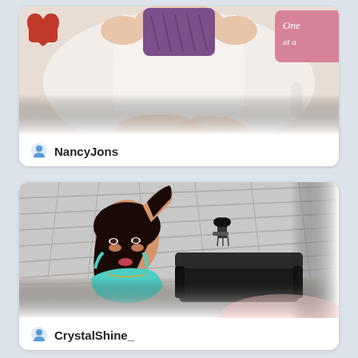[Figure (photo): Livestream thumbnail showing a person from above wrapped in white towel on a bed with decorative pillows (red heart-shaped, purple textured, pink with text). Username NancyJons shown at bottom.]
NancyJons
[Figure (photo): Livestream thumbnail showing a dark-haired woman in cyan/blue top with arm raised, in a room with grey brick-effect wall and black wall sconce lamp and black leather sofa. Username CrystalShine_ shown at bottom.]
CrystalShine_